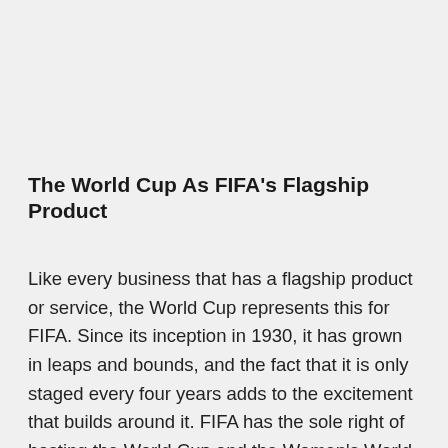The World Cup As FIFA's Flagship Product
Like every business that has a flagship product or service, the World Cup represents this for FIFA. Since its inception in 1930, it has grown in leaps and bounds, and the fact that it is only staged every four years adds to the excitement that builds around it. FIFA has the sole right of hosting the World Cup and the Women's World Cup, and as such, retains access to all the revenues.